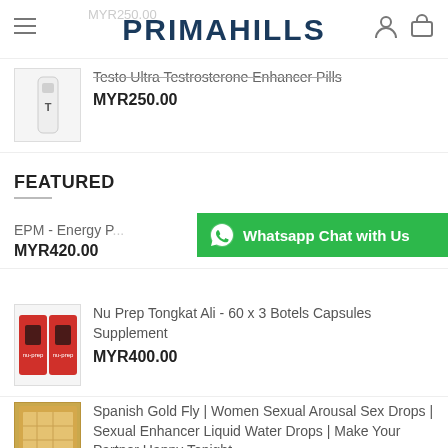PRIMAHILLS
Testo Ultra Testrosterone Enhancer Pills
MYR250.00
FEATURED
EPM - Energy P...
MYR420.00
[Figure (screenshot): WhatsApp Chat with Us green button overlay]
Nu Prep Tongkat Ali - 60 x 3 Botels Capsules Supplement
MYR400.00
Spanish Gold Fly | Women Sexual Arousal Sex Drops | Sexual Enhancer Liquid Water Drops | Make Your Partner Happy Tonight